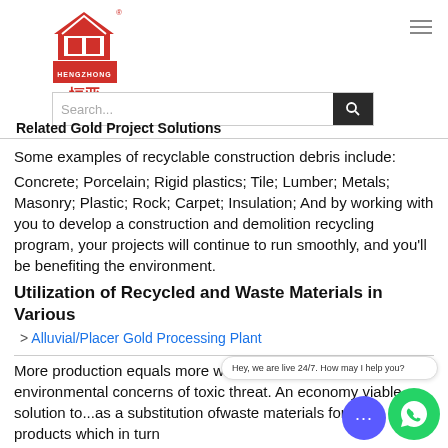[Figure (logo): Hengzhong company logo with red house icon and Chinese characters]
Some examples of recyclable construction debris include:
Concrete; Porcelain; Rigid plastics; Tile; Lumber; Metals; Masonry; Plastic; Rock; Carpet; Insulation; And by working with you to develop a construction and demolition recycling program, your projects will continue to run smoothly, and you'll be benefiting the environment.
Utilization of Recycled and Waste Materials in Various
> Alluvial/Placer Gold Processing Plant
More production equals more waste, more waste creates environmental concerns of toxic threat. An economy viable solution to...as a substitution ofwaste materials for new products which in turn
> High Clay Soil G...